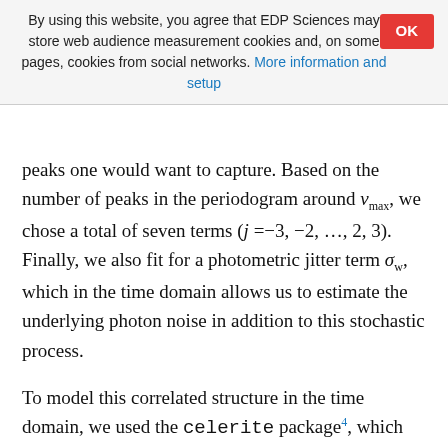By using this website, you agree that EDP Sciences may store web audience measurement cookies and, on some pages, cookies from social networks. More information and setup
peaks one would want to capture. Based on the number of peaks in the periodogram around ν_max, we chose a total of seven terms (j =−3, −2, …, 2, 3). Finally, we also fit for a photometric jitter term σ_w, which in the time domain allows us to estimate the underlying photon noise in addition to this stochastic process.
To model this correlated structure in the time domain, we used the celerite package⁴, which we have implemented as part of exonailer. Given that the transits only occupy a small portion of the light curve, we decided to first analyze the light curve with the transits removed, estimating the parameters of the